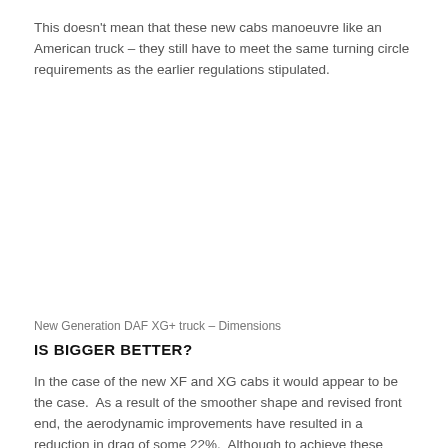This doesn't mean that these new cabs manoeuvre like an American truck – they still have to meet the same turning circle requirements as the earlier regulations stipulated.
New Generation DAF XG+ truck – Dimensions
IS BIGGER BETTER?
In the case of the new XF and XG cabs it would appear to be the case.  As a result of the smoother shape and revised front end, the aerodynamic improvements have resulted in a reduction in drag of some 22%.  Although to achieve these figures, an operator would have to fork out on the upgraded rear-view cameras that replace the mirrors – they are not standard on the DAF range unlike on the new Actros.